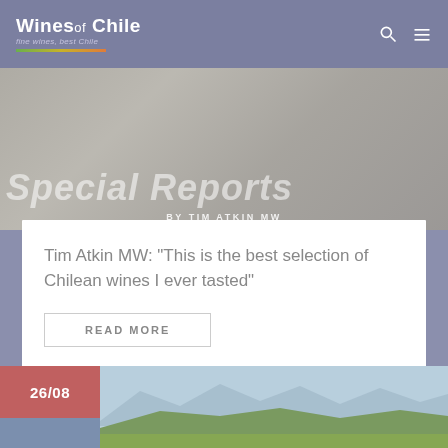Wines of Chile
[Figure (photo): Hero image showing rocky/pebble terrain with large overlaid italic text 'Special Reports' partially visible, and byline 'BY TIM ATKIN MW' centered below]
Tim Atkin MW: “This is the best selection of Chilean wines I ever tasted”
READ MORE
[Figure (photo): Bottom thumbnail showing date '26/08' in a dusty rose/red box on the left, and a landscape photo of vineyards with mountains in the background on the right]